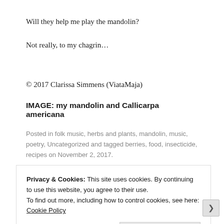Will they help me play the mandolin?
Not really, to my chagrin…
© 2017 Clarissa Simmens (ViataMaja)
IMAGE: my mandolin and Callicarpa americana
Posted in folk music, herbs and plants, mandolin, music, poetry, Uncategorized and tagged berries, food, insecticide, recipes on November 2, 2017.
Privacy & Cookies: This site uses cookies. By continuing to use this website, you agree to their use. To find out more, including how to control cookies, see here: Cookie Policy
Close and accept